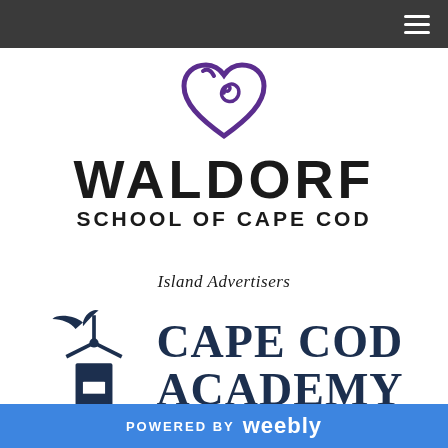[Figure (logo): Waldorf School of Cape Cod logo: purple heart with spiral swirl, text WALDORF SCHOOL OF CAPE COD]
Island Advertisers
[Figure (logo): Cape Cod Academy logo: dark blue windmill with bird, text CAPE COD ACADEMY]
POWERED BY weebly